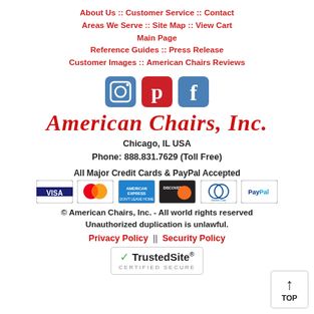About Us :: Customer Service :: Contact :: Areas We Serve :: Site Map :: View Cart :: Main Page :: Reference Guides :: Press Release :: Customer Images :: American Chairs Reviews
[Figure (logo): Social media icons: Instagram, Pinterest, Facebook]
American Chairs, Inc.
Chicago, IL USA
Phone: 888.831.7629 (Toll Free)
All Major Credit Cards & PayPal Accepted
[Figure (other): Credit card logos: Visa, MasterCard, American Express, Discover, Diners Club International, PayPal]
© American Chairs, Inc. - All world rights reserved
Unauthorized duplication is unlawful.
Privacy Policy  ||  Security Policy
[Figure (logo): TrustedSite Certified Secure badge]